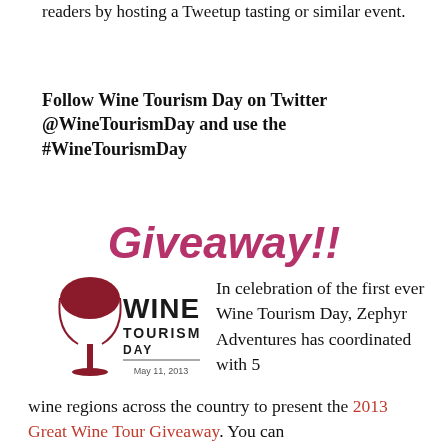readers by hosting a Tweetup tasting or similar event.
Follow Wine Tourism Day on Twitter @WineTourismDay and use the #WineTourismDay
Giveaway!!
[Figure (logo): Wine Tourism Day logo with red wine glass icon, text 'WINE TOURISM DAY May 11, 2013']
In celebration of the first ever Wine Tourism Day, Zephyr Adventures has coordinated with 5 wine regions across the country to present the 2013 Great Wine Tour Giveaway. You can